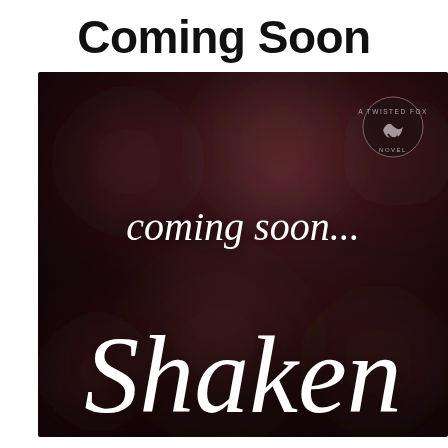Coming Soon
[Figure (illustration): Dark bokeh background book cover image with script text 'coming soon...' and large script title 'Shaken', with a Twisted Fox Novel logo in the top right corner.]